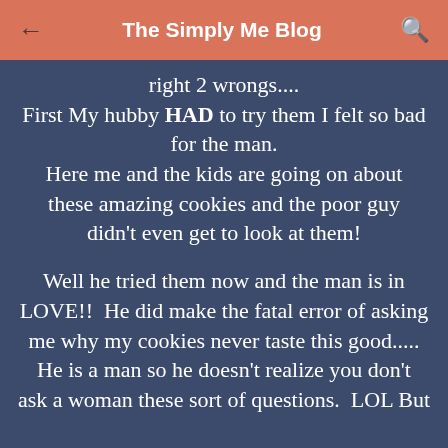The Simply Me Blog
right 2 wrongs.... First My hubby HAD to try them I felt so bad for the man. Here me and the kids are going on about these amazing cookies and the poor guy didn't even get to look at them!
Well he tried them now and the man is in LOVE!!  He did make the fatal error of asking me why my cookies never taste this good..... He is a man so he doesn't realize you don't ask a woman these sort of questions.  LOL But